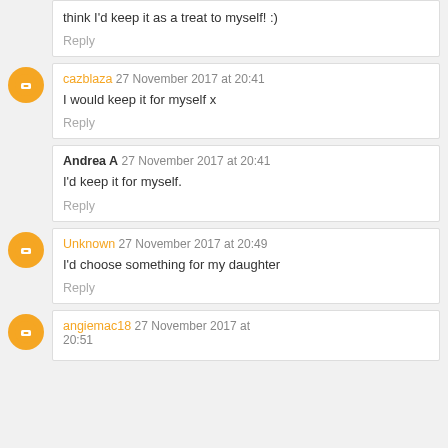think I'd keep it as a treat to myself! :)
Reply
cazblaza 27 November 2017 at 20:41
I would keep it for myself x
Reply
Andrea A 27 November 2017 at 20:41
I'd keep it for myself.
Reply
Unknown 27 November 2017 at 20:49
I'd choose something for my daughter
Reply
angiemac18 27 November 2017 at 20:51